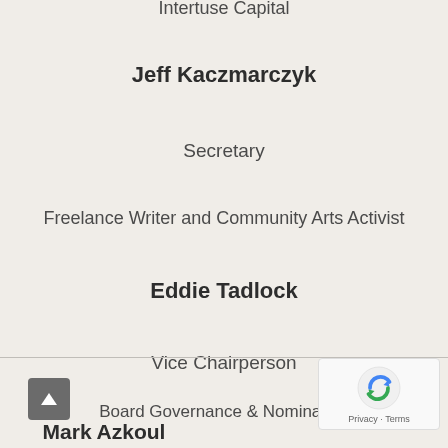Intertuse Capital
Jeff Kaczmarczyk
Secretary
Freelance Writer and Community Arts Activist
Eddie Tadlock
Vice Chairperson
Board Governance & Nominating
Jana Wallace
Treasurer
Mark Azkoul